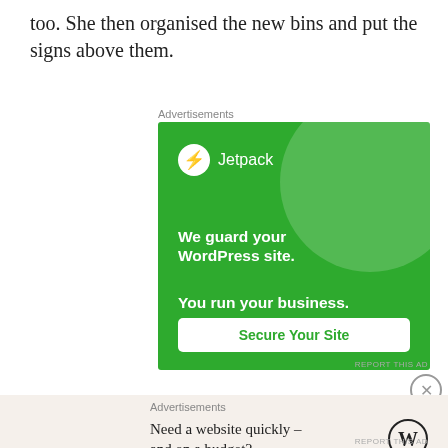too. She then organised the new bins and put the signs above them.
Advertisements
[Figure (infographic): Jetpack advertisement on green background. Logo with lightning bolt icon and 'Jetpack' text. Taglines: 'We guard your WordPress site. You run your business.' with 'Secure Your Site' button.]
REPORT THIS AD
Advertisements
[Figure (infographic): WordPress advertisement on beige background. Text: 'Need a website quickly – and on a budget?' with WordPress logo icon.]